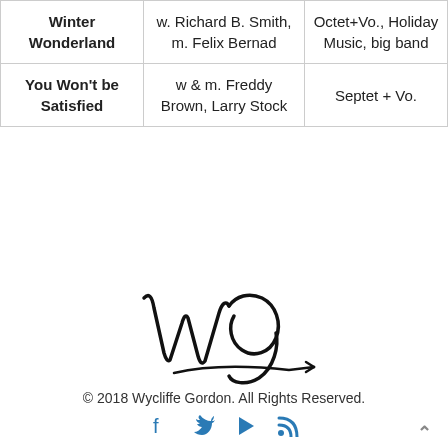|  |  |  |
| --- | --- | --- |
| Winter Wonderland | w. Richard B. Smith, m. Felix Bernad | Octet+Vo., Holiday Music, big band |
| You Won't be Satisfied | w & m. Freddy Brown, Larry Stock | Septet + Vo. |
[Figure (illustration): Wycliffe Gordon handwritten signature in black ink, cursive 'Wg' style]
© 2018 Wycliffe Gordon. All Rights Reserved.